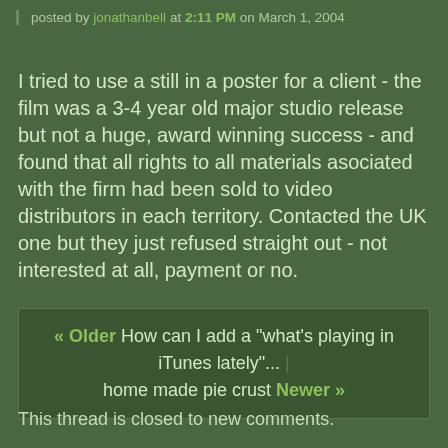posted by jonathanbell at 2:11 PM on March 1, 2004
I tried to use a still in a poster for a client - the film was a 3-4 year old major studio release but not a huge, award winning success - and found that all rights to all materials asociated with the firm had been sold to video distributors in each territory. Contacted the UK one but they just refused straight out - not interested at all, payment or no.
posted by elliot100 at 3:38 AM on March 2, 2004
« Older How can I add a "what's playing in iTunes lately"... | home made pie crust Newer »
This thread is closed to new comments.